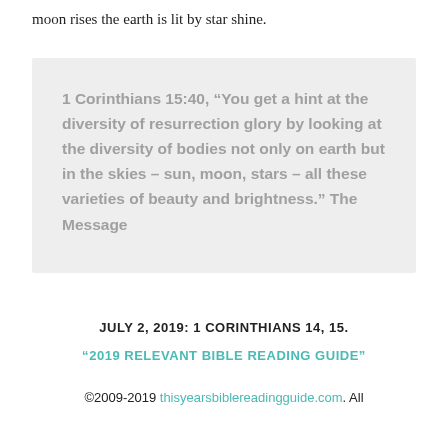moon rises the earth is lit by star shine.
1 Corinthians 15:40, “You get a hint at the diversity of resurrection glory by looking at the diversity of bodies not only on earth but in the skies – sun, moon, stars – all these varieties of beauty and brightness.” The Message
JULY 2, 2019: 1 CORINTHIANS 14, 15.
‘2019 RELEVANT BIBLE READING GUIDE’
©2009-2019 thisyearsbiblereadingguide.com. All